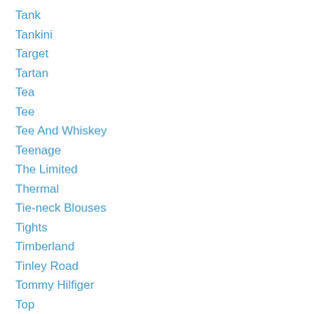Tank
Tankini
Target
Tartan
Tea
Tee
Tee And Whiskey
Teenage
The Limited
Thermal
Tie-neck Blouses
Tights
Timberland
Tinley Road
Tommy Hilfiger
Top
Treasure Tower
Trends
Tribal
Trouser Jeans